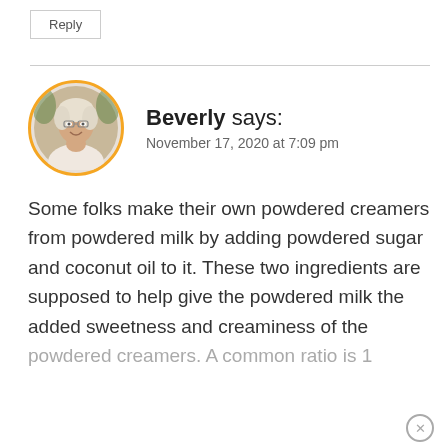Reply
[Figure (photo): Circular profile photo of Beverly, a woman with white/blonde hair and glasses, smiling, with an orange circular border.]
Beverly says:
November 17, 2020 at 7:09 pm
Some folks make their own powdered creamers from powdered milk by adding powdered sugar and coconut oil to it. These two ingredients are supposed to help give the powdered milk the added sweetness and creaminess of the powdered creamers. A common ratio is 1